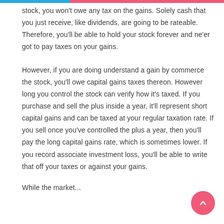stock, you won't owe any tax on the gains. Solely cash that you just receive, like dividends, are going to be rateable. Therefore, you'll be able to hold your stock forever and ne'er got to pay taxes on your gains.
However, if you are doing understand a gain by commerce the stock, you'll owe capital gains taxes thereon. However long you control the stock can verify how it's taxed. If you purchase and sell the plus inside a year, it'll represent short capital gains and can be taxed at your regular taxation rate. If you sell once you've controlled the plus a year, then you'll pay the long capital gains rate, which is sometimes lower. If you record associate investment loss, you'll be able to write that off your taxes or against your gains.
While the market...